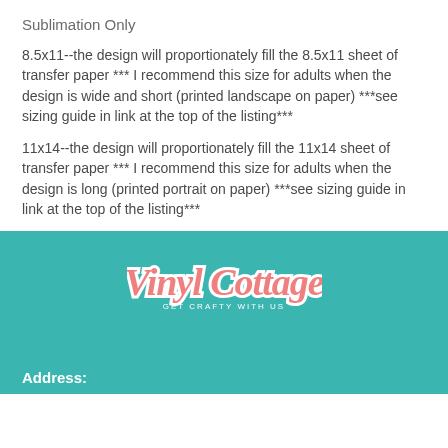Sublimation Only
8.5x11--the design will proportionately fill the 8.5x11 sheet of transfer paper *** I recommend this size for adults when the design is wide and short (printed landscape on paper) ***see sizing guide in link at the top of the listing***
11x14--the design will proportionately fill the 11x14 sheet of transfer paper *** I recommend this size for adults when the design is long (printed portrait on paper)  ***see sizing guide in link at the top of the listing***
[Figure (logo): Vinyl Cottage logo with text 'GET CRAFTY WITH US' on teal background]
Address: